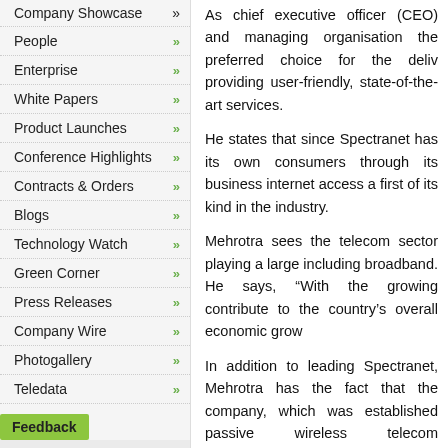Company Showcase »
People »
Enterprise »
White Papers »
Product Launches »
Conference Highlights »
Contracts & Orders »
Blogs »
Technology Watch »
Green Corner »
Press Releases »
Company Wire »
Photogallery »
Teledata »
Feedback
Feedback Form
Archives
Tele.net magazine archives
As chief executive officer (CEO) and managing... organisation the preferred choice for the deliv... providing user-friendly, state-of-the-art services.
He states that since Spectranet has its own... consumers through its business internet access... a first of its kind in the industry.
Mehrotra sees the telecom sector playing a large... including broadband. He says, "With the growing... contribute to the country's overall economic grow...
In addition to leading Spectranet, Mehrotra has... the fact that the company, which was established... passive wireless telecom infrastructure. In ad... acquisition of a low power GSM licence in the UK...
On the job front, Mehrotra likes to plan out eac... investing more time in planning and reviewing th... and laying out the strategy, and then for impleme... to lose focus on either." He is a great admirer o... thinking and ability to apply their ideas with comp...
A voracious reader, Mehrotra's eclectic interests... management to cartoons and superheroes. H... concludes by saying, "When not at work, I am ke...